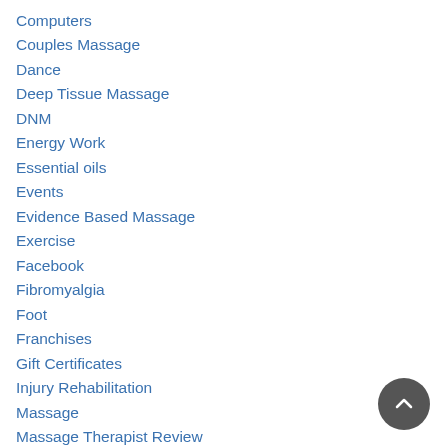Computers
Couples Massage
Dance
Deep Tissue Massage
DNM
Energy Work
Essential oils
Events
Evidence Based Massage
Exercise
Facebook
Fibromyalgia
Foot
Franchises
Gift Certificates
Injury Rehabilitation
Massage
Massage Therapist Review